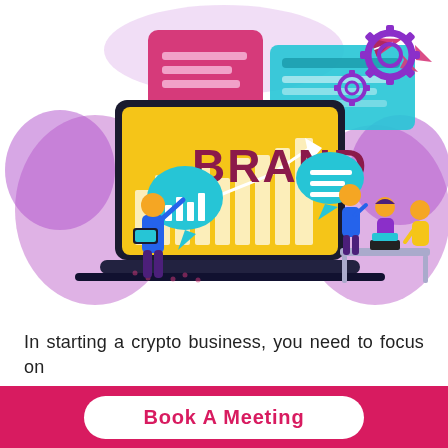[Figure (illustration): Colorful vector illustration of branding concept: a large laptop with yellow screen displaying the word 'BRAND' in dark red bold letters with a rising arrow chart. Around the laptop are various decorative elements: purple and pink blob shapes, a red/pink tablet, a teal browser window, a paper airplane, purple gear icons, speech bubbles with bar chart and lines icons, and small cartoon people working — one person presenting at the laptop, and a group of three people sitting at a table with laptops.]
In starting a crypto business, you need to focus on
branding and marketing your business above all the
Book A Meeting